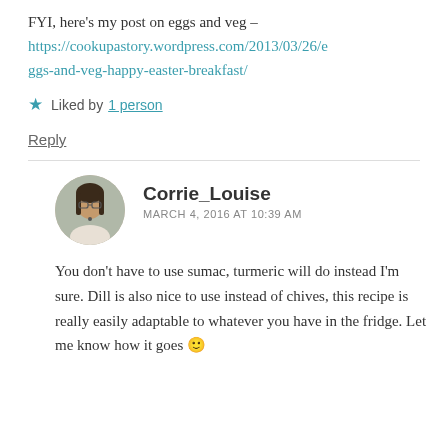FYI, here's my post on eggs and veg – https://cookupastory.wordpress.com/2013/03/26/eggs-and-veg-happy-easter-breakfast/
Liked by 1 person
Reply
Corrie_Louise
MARCH 4, 2016 AT 10:39 AM
You don't have to use sumac, turmeric will do instead I'm sure. Dill is also nice to use instead of chives, this recipe is really easily adaptable to whatever you have in the fridge. Let me know how it goes 🙂